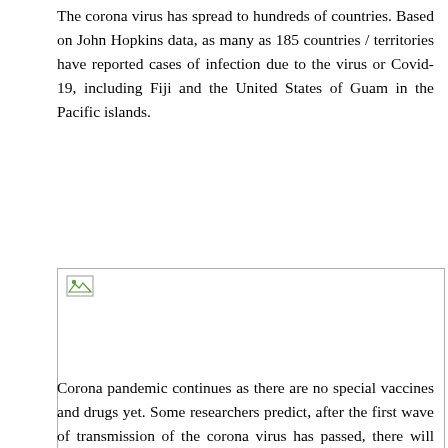The corona virus has spread to hundreds of countries. Based on John Hopkins data, as many as 185 countries / territories have reported cases of infection due to the virus or Covid-19, including Fiji and the United States of Guam in the Pacific islands.
[Figure (photo): Broken/missing image placeholder with a small broken image icon in the top-left corner, shown inside a bordered rectangle.]
Corona pandemic continues as there are no special vaccines and drugs yet. Some researchers predict, after the first wave of transmission of the corona virus has passed, there will still be